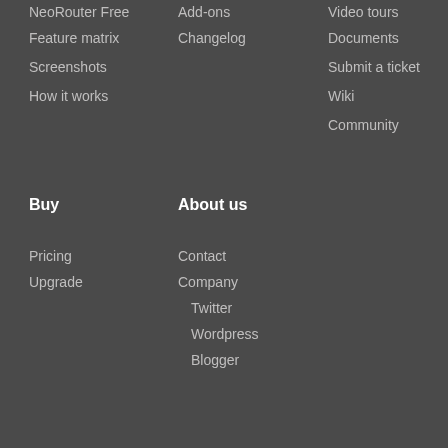NeoRouter Free
Add-ons
Video tours
Feature matrix
Changelog
Documents
Screenshots
Submit a ticket
How it works
Wiki
Community
Buy
About us
Pricing
Contact
Upgrade
Company
Twitter
Wordpress
Blogger